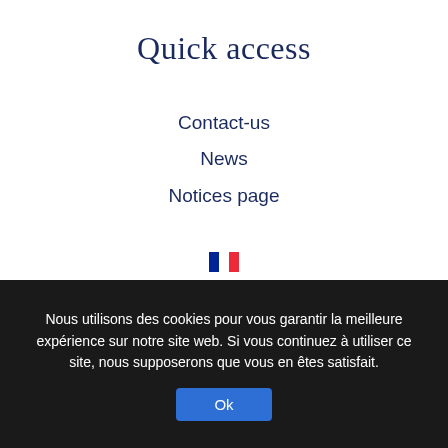Quick access
Contact-us
News
Notices page
[Figure (illustration): Four country flag emoji icons stacked vertically: French flag, UK flag, German flag, Portuguese flag]
Nous utilisons des cookies pour vous garantir la meilleure expérience sur notre site web. Si vous continuez à utiliser ce site, nous supposerons que vous en êtes satisfait.
Ok